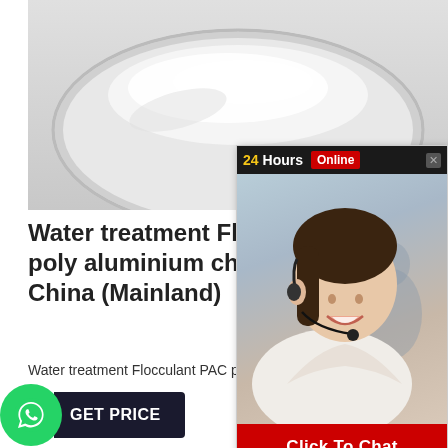[Figure (photo): Product image showing white powder (poly aluminium chloride) in a glass petri dish on a light grey background]
Water treatment Flocculant PAC poly aluminium chloride, Cas# China (Mainland)
Water treatment Flocculant PAC poly aluminium chloride 1327-41-9 Suppliers,provide Water treatment Flocculant PAC poly aluminium chloride 1327-41-9 product and the products related with China (Mainland) Water treatment Flocculant PAC poly aluminium
[Figure (screenshot): 24Hours Online chat popup widget with a customer service agent photo and a red Click To Chat button]
[Figure (other): Green WhatsApp button with GET PRICE label in dark navy background, and grey scroll-to-top arrow button on the right]